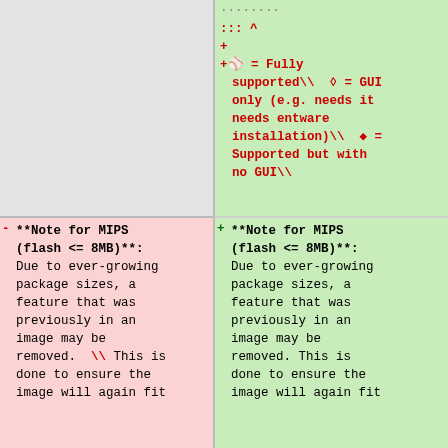... ^ ::: ^ 
+
+ ⊛ = Fully supported\\ ♢ = GUI only (e.g. needs it needs entware installation)\\ ♦ = Supported but with no GUI\\
- **Note for MIPS (flash <= 8MB)**: Due to ever-growing package sizes, a feature that was previously in an image may be removed. \\ This is done to ensure the image will again fit
+ **Note for MIPS (flash <= 8MB)**: Due to ever-growing package sizes, a feature that was previously in an image may be removed. This is done to ensure the image will again fit